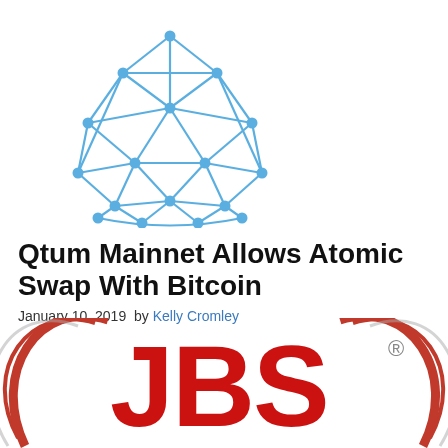[Figure (illustration): Qtum network logo — a blue geodesic dome/sphere made of connected nodes and triangular mesh lines on white background]
Qtum Mainnet Allows Atomic Swap With Bitcoin
January 10, 2019  by Kelly Cromley
[Figure (logo): JBS logo — large red letters JBS with curved red parenthesis-like arcs on each side forming a circular emblem, with a registered trademark symbol, partially cropped at bottom of page]